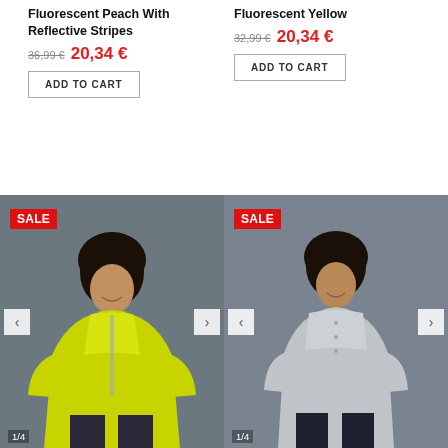Fluorescent Peach With Reflective Stripes
36,99 € 20,34 €
ADD TO CART
Fluorescent Yellow
32,99 € 20,34 €
ADD TO CART
[Figure (photo): Man wearing fluorescent yellow shirt, SALE badge in top left, navigation arrows, counter 1/4]
[Figure (photo): Man wearing grey shirt, SALE badge in top left, navigation arrows, counter 1/4]